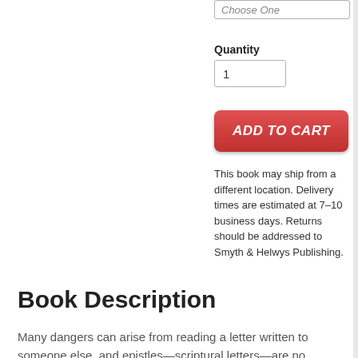Choose One
Quantity
1
ADD TO CART
This book may ship from a different location. Delivery times are estimated at 7–10 business days. Returns should be addressed to Smyth & Helwys Publishing.
Book Description
Many dangers can arise from reading a letter written to someone else, and epistles—scriptural letters—are no